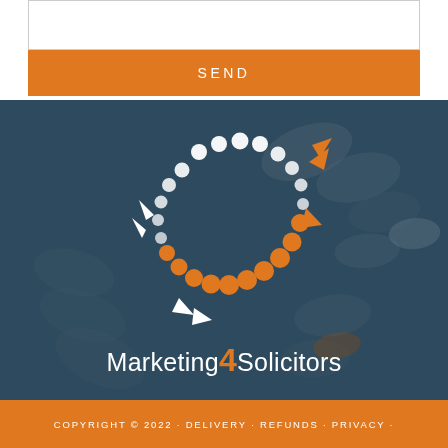[Figure (other): White input field / text box at top of page]
SEND
[Figure (logo): Marketing4Solicitors logo with circular dotted arrow graphic in white and orange on dark blue background]
COPYRIGHT © 2022 · DELIVERY · REFUNDS · PRIVACY ·